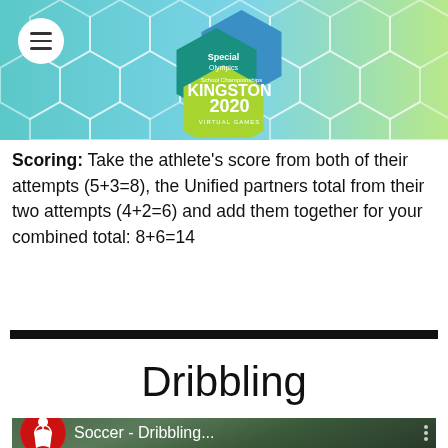[Figure (logo): Special Olympics School Championships Kingston 2020 Virtual Games hexagon logo badge overlaid on teal/green honeycomb header background]
Scoring: Take the athlete's score from both of their attempts (5+3=8), the Unified partners total from their two attempts (4+2=6) and add them together for your combined total: 8+6=14
Dribbling
[Figure (screenshot): Video thumbnail for Soccer - Dribbling with red Special Olympics logo circle icon on dark outdoor background]